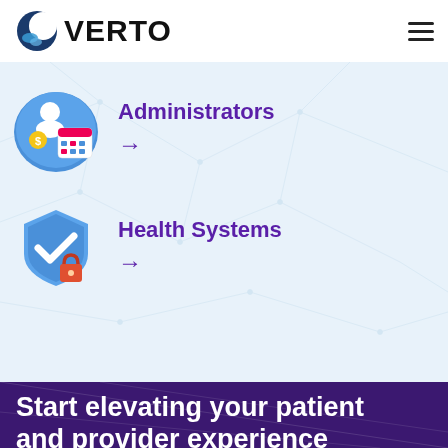[Figure (logo): Verto logo with crescent moon icon and bold text VERTO]
[Figure (illustration): 3D illustration of a person with calendar/scheduling icon (blue bubble)]
Administrators
→
[Figure (illustration): 3D illustration of a blue shield with checkmark and red padlock]
Health Systems
→
Start elevating your patient and provider experience